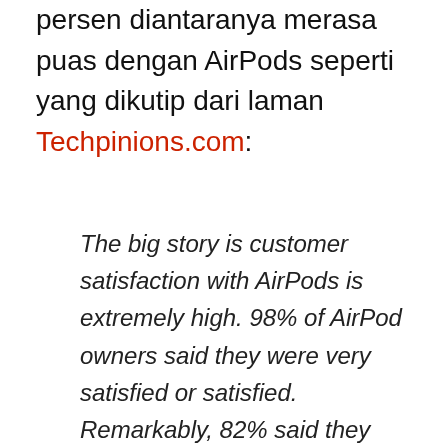persen diantaranya merasa puas dengan AirPods seperti yang dikutip dari laman Techpinions.com:
The big story is customer satisfaction with AirPods is extremely high. 98% of AirPod owners said they were very satisfied or satisfied. Remarkably, 82% said they were very satisfied. The overall customer satisfaction level of 98% sets the record for the highest level of satisfaction for a new product from Apple. When the iPhone came out in 2007, it held a 92% customer